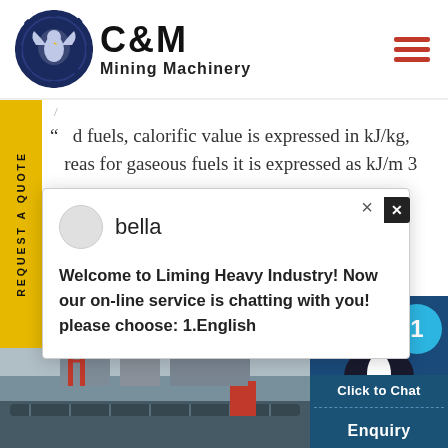[Figure (logo): C&M Mining Machinery logo with eagle/gear emblem in navy blue circle, bold C&M text and Mining Machinery subtitle]
d fuels, calorific value is expressed in kJ/kg, reas for gaseous fuels it is expressed as kJ/m 3
[Figure (screenshot): Chat popup overlay with avatar named 'bella', message: Welcome to Liming Heavy Industry! Now our on-line service is chatting with you! please choose: 1.English]
[Figure (photo): Industrial mining machinery/conveyor belt equipment at bottom left, customer service agent with headset at bottom right with Click to Chat and Enquiry buttons, cyan badge showing number 1]